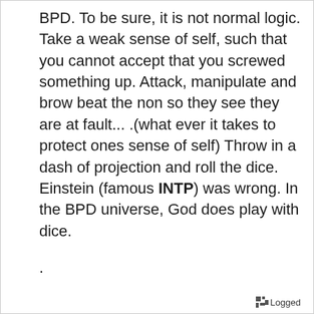BPD.  To be sure, it is not normal logic.  Take a weak sense of self, such that you cannot accept that you screwed something up.  Attack, manipulate and brow beat the non so they see they are at fault... .(what ever it takes to protect ones sense of self)  Throw in a dash of projection and roll the dice.  Einstein (famous INTP) was wrong.  In the BPD universe, God does play with dice.
.
Logged